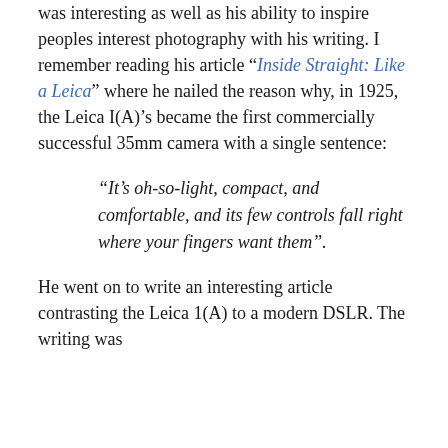was interesting as well as his ability to inspire peoples interest photography with his writing. I remember reading his article “Inside Straight: Like a Leica” where he nailed the reason why, in 1925, the Leica I(A)’s became the first commercially successful 35mm camera with a single sentence:
“It’s oh-so-light, compact, and comfortable, and its few controls fall right where your fingers want them”.
He went on to write an interesting article contrasting the Leica 1(A) to a modern DSLR. The writing was